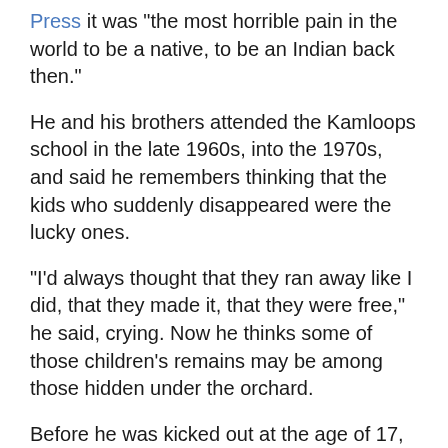it was the most horrible pain in the world to be a native, to be an Indian back then."
He and his brothers attended the Kamloops school in the late 1960s, into the 1970s, and said he remembers thinking that the kids who suddenly disappeared were the lucky ones.
"I'd always thought that they ran away like I did, that they made it, that they were free," he said, crying. Now he thinks some of those children's remains may be among those hidden under the orchard.
Before he was kicked out at the age of 17, Peters said, he was regularly beaten and molested. Children who spoke their own language were made to eat soap, he said, and they were also forced to scrub their bodies with